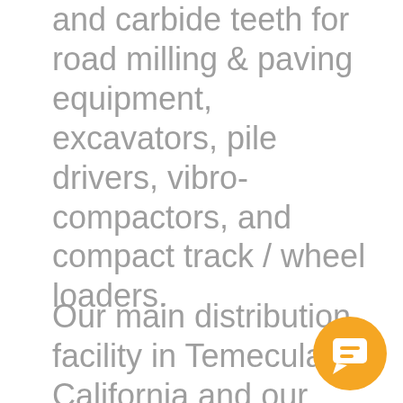and carbide teeth for road milling & paving equipment, excavators, pile drivers, vibro-compactors, and compact track / wheel loaders.
Our main distribution facility in Temecula, California and our warehouse in Warminster, Pennsylvania serves equipment requirements throughout North America and welcomes inquiries from OEMs, dealers, and equipment support groups. We are also a regular exhibitor at major American trade shows.
[Figure (other): Orange circular chat/message icon button in the bottom right corner of the page]